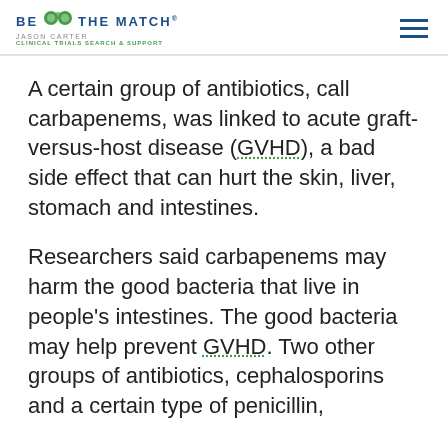BE THE MATCH JASON CARTER CLINICAL TRIALS SEARCH & SUPPORT
A certain group of antibiotics, call carbapenems, was linked to acute graft-versus-host disease (GVHD), a bad side effect that can hurt the skin, liver, stomach and intestines.
Researchers said carbapenems may harm the good bacteria that live in people's intestines. The good bacteria may help prevent GVHD. Two other groups of antibiotics, cephalosporins and a certain type of penicillin,